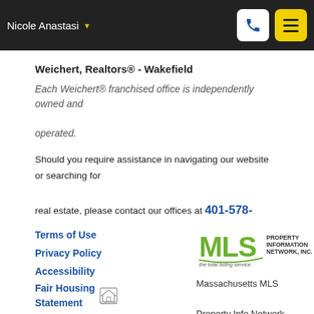Nicole Anastasi
Weichert, Realtors® - Wakefield
Each Weichert® franchised office is independently owned and operated.
Should you require assistance in navigating our website or searching for real estate, please contact our offices at 401-578-9861.
Terms of Use
Privacy Policy
Accessibility
Fair Housing Statement
[Figure (logo): MLS Property Information Network, Inc. logo - the total listing service]
Massachusetts MLS Property Info Network (MLSPIN) - The property listing data and information